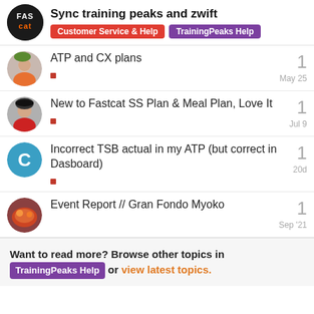Sync training peaks and zwift
Customer Service & Help | TrainingPeaks Help
ATP and CX plans
1
May 25
New to Fastcat SS Plan & Meal Plan, Love It
1
Jul 9
Incorrect TSB actual in my ATP (but correct in Dasboard)
1
20d
Event Report // Gran Fondo Myoko
1
Sep '21
Want to read more? Browse other topics in TrainingPeaks Help or view latest topics.